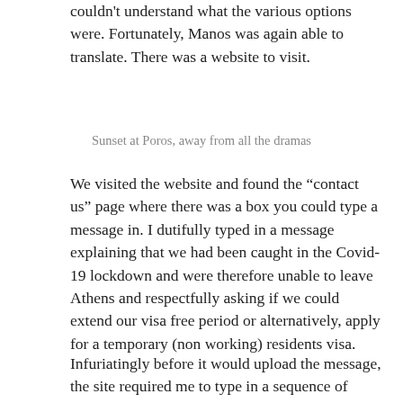couldn't understand what the various options were. Fortunately, Manos was again able to translate. There was a website to visit.
Sunset at Poros, away from all the dramas
We visited the website and found the “contact us” page where there was a box you could type a message in. I dutifully typed in a message explaining that we had been caught in the Covid-19 lockdown and were therefore unable to leave Athens and respectfully asking if we could extend our visa free period or alternatively, apply for a temporary (non working) residents visa.
Infuriatingly before it would upload the message, the site required me to type in a sequence of